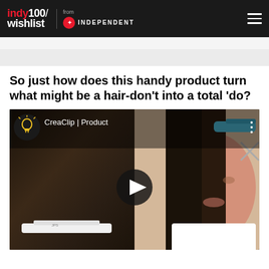indy100/wishlist from INDEPENDENT
[Figure (other): Advertisement placeholder banner]
So just how does this handy product turn what might be a hair-don't into a total 'do?
[Figure (screenshot): YouTube video embed thumbnail showing CreaClip product demonstration. A woman with long dark hair is shown with a blue hair cutting clip tool, and another image shows the back of a woman's hair being cut with the same device. Video title reads 'CreaClip | Product' with a lightbulb icon. A play button is visible in the center.]